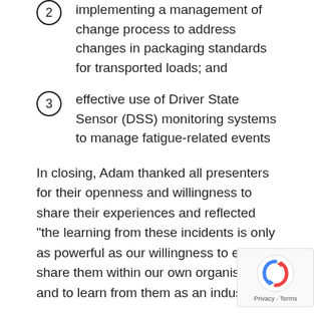implementing a management of change process to address changes in packaging standards for transported loads; and
effective use of Driver State Sensor (DSS) monitoring systems to manage fatigue-related events
In closing, Adam thanked all presenters for their openness and willingness to share their experiences and reflected “the learning from these incidents is only as powerful as our willingness to each share them within our own organisation and to learn from them as an industry”.
If you would like your company to receive invitations to future Land Transport Incident Review Panel (LTIRP) events, please contact us at land.transport@safertogether.com.au to forward the names and contact details of your nominated